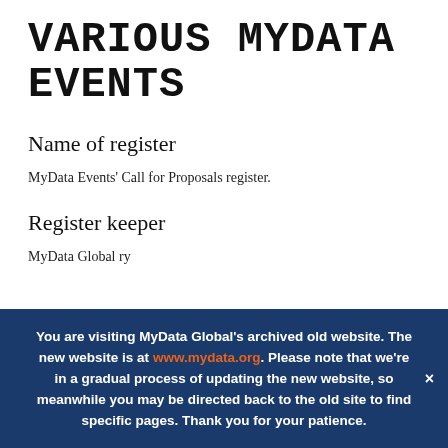VARIOUS MYDATA EVENTS
Name of register
MyData Events' Call for Proposals register.
Register keeper
MyData Global ry
You are visiting MyData Global's archived old website. The new website is at www.mydata.org. Please note that we're in a gradual process of updating the new website, so meanwhile you may be directed back to the old site to find specific pages. Thank you for your patience.